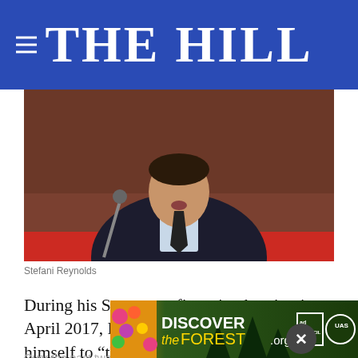THE HILL
[Figure (photo): Man in dark suit speaking at a hearing, with a red panel visible in the foreground and a microphone visible to the left.]
Stefani Reynolds
During his Senate confirmation hearing in April 2017, Dr. Scott Gottlieb committed himself to “the gold standard of safety and efficacy.”
Over the past two years as head of the Food and Drug Administration, Commissioner Gottlieb has made good on that promise, and
[Figure (screenshot): Advertisement overlay: DISCOVERtheFOREST.org with Ad Council and US Forest Service logos, with a close button (x).]